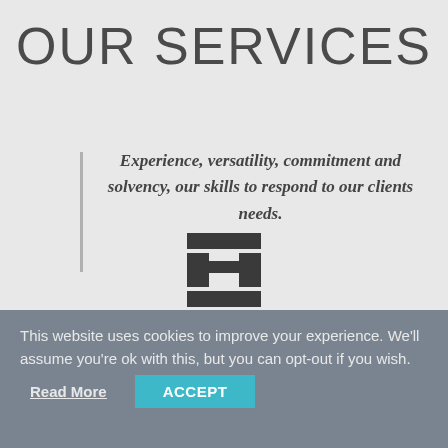OUR SERVICES
Experience, versatility, commitment and solvency, our skills to respond to our clients needs.
[Figure (logo): Company logo — stylized H-shaped block icon in dark gray]
This website uses cookies to improve your experience. We'll assume you're ok with this, but you can opt-out if you wish.
Read More
ACCEPT